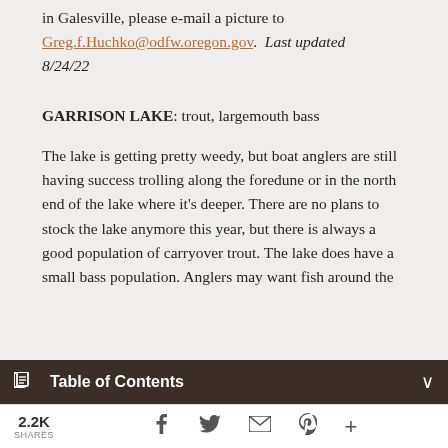in Galesville, please e-mail a picture to Greg.f.Huchko@odfw.oregon.gov.  Last updated 8/24/22
GARRISON LAKE: trout, largemouth bass
The lake is getting pretty weedy, but boat anglers are still having success trolling along the foredune or in the north end of the lake where it's deeper. There are no plans to stock the lake anymore this year, but there is always a good population of carryover trout. The lake does have a small bass population. Anglers may want fish around the
Table of Contents
2.2K SHARES